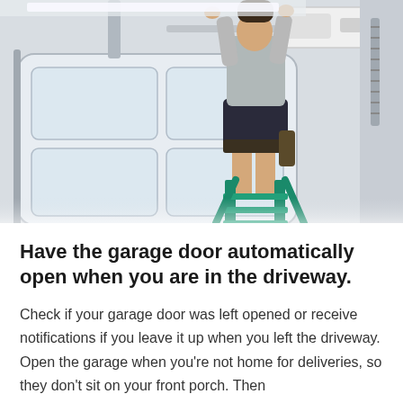[Figure (photo): A person standing on a green step ladder in a garage, reaching up to install or service a garage door opener mounted on the ceiling. A white garage door with glass panels is visible in the background.]
Have the garage door automatically open when you are in the driveway.
Check if your garage door was left opened or receive notifications if you leave it up when you left the driveway. Open the garage when you're not home for deliveries, so they don't sit on your front porch. Then